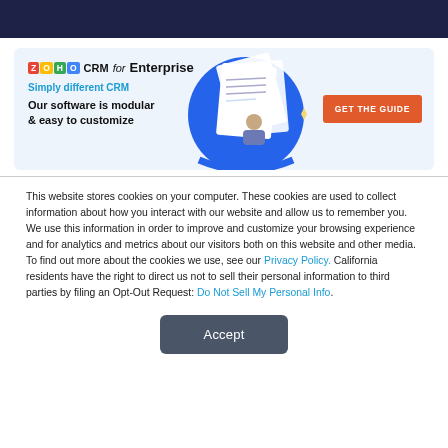[Figure (illustration): Zoho CRM for Enterprise advertisement banner with logo, tagline 'Simply different CRM', headline 'Our software is modular & easy to customize', document illustrations with blue circle background, and orange 'GET THE GUIDE' button]
This website stores cookies on your computer. These cookies are used to collect information about how you interact with our website and allow us to remember you. We use this information in order to improve and customize your browsing experience and for analytics and metrics about our visitors both on this website and other media. To find out more about the cookies we use, see our Privacy Policy. California residents have the right to direct us not to sell their personal information to third parties by filing an Opt-Out Request: Do Not Sell My Personal Info.
Accept